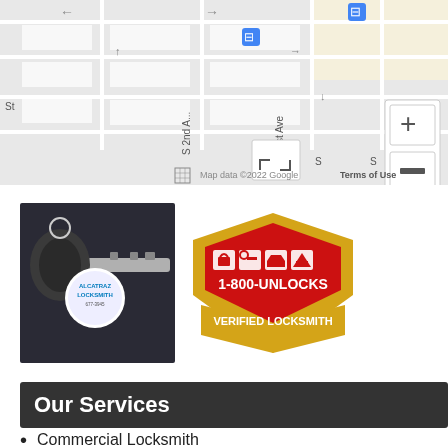[Figure (map): Google Maps view of a street grid showing E Jefferson St, S 1st Ave, S 2nd Ave. Map controls (+/-) visible on right side. Bottom shows 'Map data ©2022 Google' and 'Terms of Use'. A zoom-to-fit icon is visible bottom left.]
[Figure (photo): Photo of a car key with a round keychain tag reading 'ALCATRAZ LOCKSMITH' with contact info and phone number 677-3945.]
[Figure (logo): 1-800-UNLOCKS Verified Locksmith badge/logo. Red and gold shield shape with icons for residential, auto, and commercial locksmith services.]
Our Services
Commercial Locksmith
Phoenix AZ